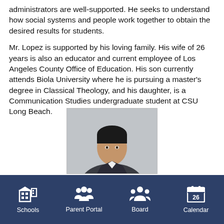administrators are well-supported. He seeks to understand how social systems and people work together to obtain the desired results for students.
Mr. Lopez is supported by his loving family. His wife of 26 years is also an educator and current employee of Los Angeles County Office of Education. His son currently attends Biola University where he is pursuing a master's degree in Classical Theology, and his daughter, is a Communication Studies undergraduate student at CSU Long Beach.
[Figure (photo): Portrait photo of Mr. Lopez, a man in professional attire against a grey background]
Schools | Parent Portal | Board | Calendar